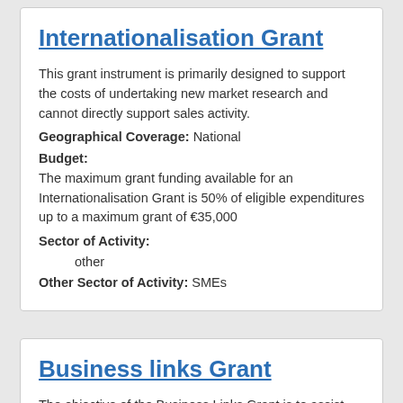Internationalisation Grant
This grant instrument is primarily designed to support the costs of undertaking new market research and cannot directly support sales activity.
Geographical Coverage: National
Budget:
The maximum grant funding available for an Internationalisation Grant is 50% of eligible expenditures up to a maximum grant of €35,000
Sector of Activity:
other
Other Sector of Activity: SMEs
Business links Grant
The objective of the Business Links Grant is to assist